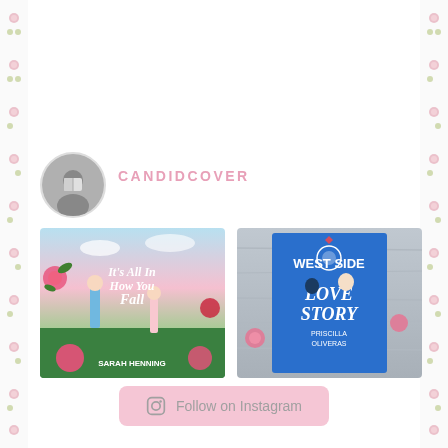[Figure (illustration): Floral/rose decorative border running down the left side of the page]
[Figure (illustration): Floral/rose decorative border running down the right side of the page]
[Figure (photo): Circular profile avatar photo of a person reading a book, in black and white]
CANDIDCOVER
[Figure (photo): Book cover of 'It's All in How You Fall' by Sarah Henning, shown flat surrounded by pink roses]
[Figure (photo): Book cover of 'West Side Love Story' by Priscilla Oliveras, shown flat on a wooden surface]
Follow on Instagram